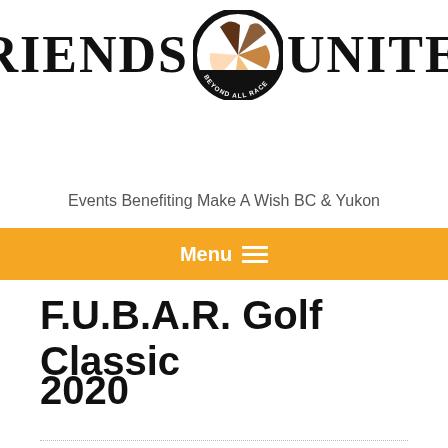[Figure (logo): Friends United Beyond All Race logo: large serif text 'FRIENDS UNITED' flanking a circular logo with hands of different skin tones and text 'BEYOND ALL RACE']
Events Benefiting Make A Wish BC & Yukon
Menu
F.U.B.A.R. Golf Classic
2020